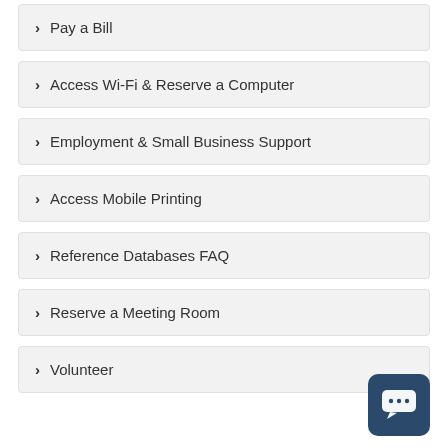Pay a Bill
Access Wi-Fi & Reserve a Computer
Employment & Small Business Support
Access Mobile Printing
Reference Databases FAQ
Reserve a Meeting Room
Volunteer